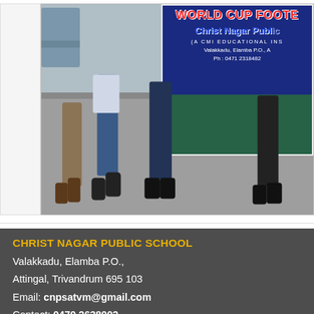[Figure (photo): Outdoor photo of people walking carrying a large banner for 'World Cup Football' event organized by Christ Nagar Public School (A CMI Educational Institution), Valakkadu, Elamba P.O. The banner shows green stadium background with red text. People's legs and feet are visible in the foreground on a road. A car is partially visible on the left.]
CHRIST NAGAR PUBLIC SCHOOL
Valakkadu, Elamba P.O.,
Attingal, Trivandrum 695 103
Email: cnpsatvm@gmail.com
Contact: 0470 2638002